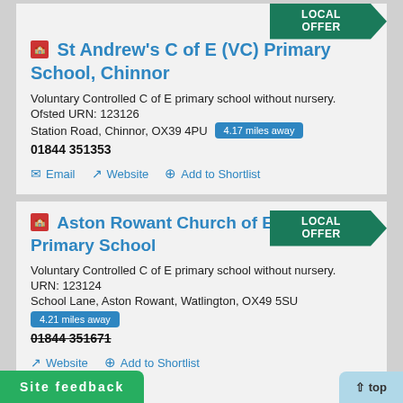St Andrew's C of E (VC) Primary School, Chinnor
Voluntary Controlled C of E primary school without nursery.
Ofsted URN: 123126
Station Road, Chinnor, OX39 4PU  4.17 miles away
01844 351353
Email | Website | Add to Shortlist
Aston Rowant Church of England Primary School
Voluntary Controlled C of E primary school without nursery.
URN: 123124
School Lane, Aston Rowant, Watlington, OX49 5SU
4.21 miles away
01844 351671
Website | Add to Shortlist
Site feedback
top